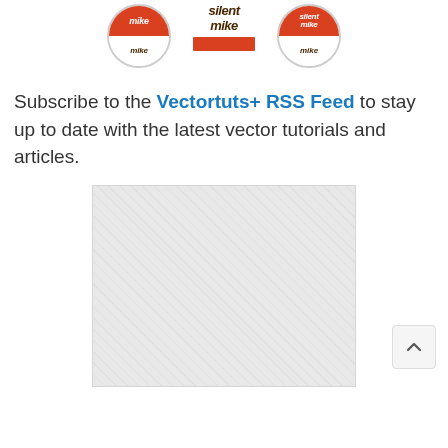[Figure (illustration): Three 'silent mike' logos: a circle with red top half and text, a rectangular logo with italic 'silent mike' text above a red bar, and another circle logo with red top half and 'silent mike' text]
Subscribe to the Vectortuts+ RSS Feed to stay up to date with the latest vector tutorials and articles.
[Figure (other): Gray hatched advertisement placeholder rectangle]